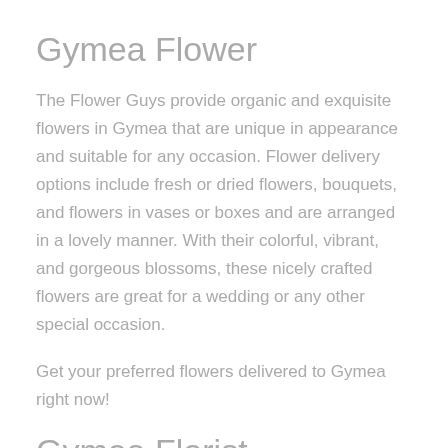Gymea Flower
The Flower Guys provide organic and exquisite flowers in Gymea that are unique in appearance and suitable for any occasion. Flower delivery options include fresh or dried flowers, bouquets, and flowers in vases or boxes and are arranged in a lovely manner. With their colorful, vibrant, and gorgeous blossoms, these nicely crafted flowers are great for a wedding or any other special occasion.
Get your preferred flowers delivered to Gymea right now!
Gymea Florist
The Flower Guys has professional florists proudly serving Gymea. The team is friendly and